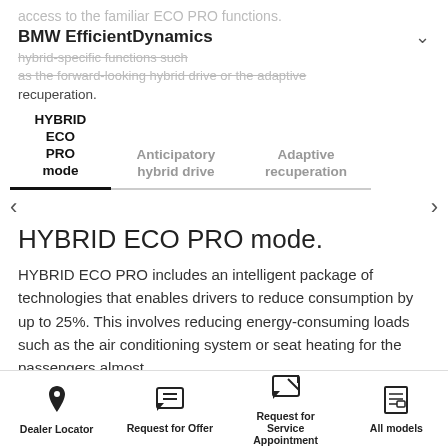BMW EfficientDynamics
access to the familiar ECO PRO functions. hybrid-specific functions such as the forward-looking hybrid drive or the adaptive recuperation.
HYBRID ECO PRO mode | Anticipatory hybrid drive | Adaptive recuperation
HYBRID ECO PRO mode.
HYBRID ECO PRO includes an intelligent package of technologies that enables drivers to reduce consumption by up to 25%. This involves reducing energy-consuming loads such as the air conditioning system or seat heating for the passengers almost
Dealer Locator | Request for Offer | Request for Service Appointment | All models